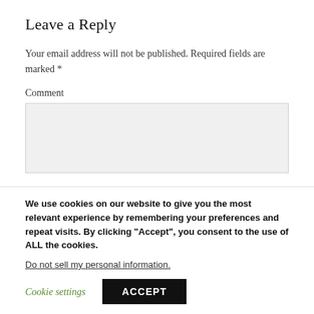Leave a Reply
Your email address will not be published. Required fields are marked *
Comment
We use cookies on our website to give you the most relevant experience by remembering your preferences and repeat visits. By clicking “Accept”, you consent to the use of ALL the cookies.
Do not sell my personal information.
Cookie settings
ACCEPT